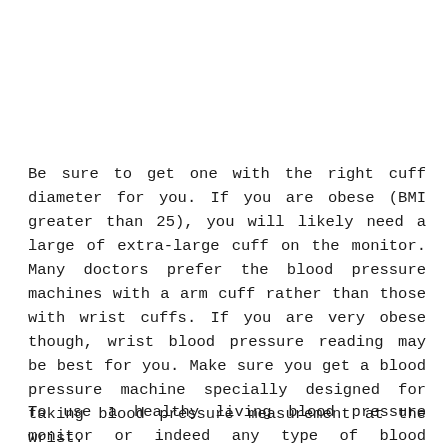Be sure to get one with the right cuff diameter for you. If you are obese (BMI greater than 25), you will likely need a large of extra-large cuff on the monitor. Many doctors prefer the blood pressure machines with a arm cuff rather than those with wrist cuffs. If you are very obese though, wrist blood pressure reading may be best for you. Make sure you get a blood pressure machine specially designed for taking blood pressure measurement at the wrist.
To use a healthy living blood pressure monitor or indeed any type of blood pressure monitor is easy